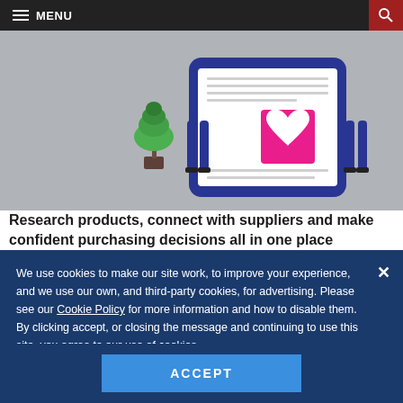MENU
[Figure (illustration): Website illustration showing two people standing beside a large tablet/phone displaying a document with a heart icon, and a decorative tree on the left, on a grey background]
Research products, connect with suppliers and make confident purchasing decisions all in one place
SHRM
We use cookies to make our site work, to improve your experience, and we use our own, and third-party cookies, for advertising. Please see our Cookie Policy for more information and how to disable them. By clicking accept, or closing the message and continuing to use this site, you agree to our use of cookies.
ACCEPT